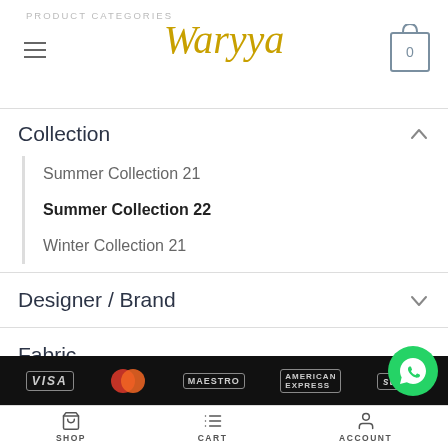PRODUCT CATEGORIES — Waryya
Collection
Summer Collection 21
Summer Collection 22
Winter Collection 21
Designer / Brand
Fabric
Sania Maskatiya
Uncategorized
[Figure (screenshot): Footer payment logos: VISA, Mastercard, Maestro, American Express, Stripe]
SHOP  CART  ACCOUNT